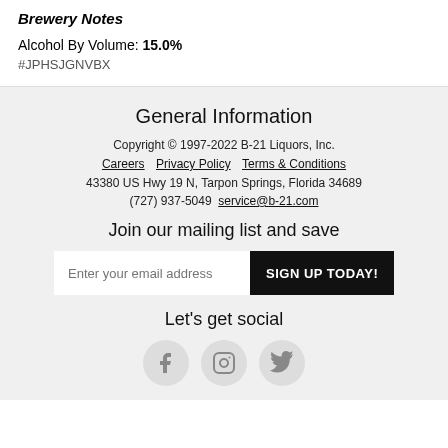Brewery Notes
Alcohol By Volume: 15.0%
#JPHSJGNVBX
General Information
Copyright © 1997-2022 B-21 Liquors, Inc.
Careers   Privacy Policy   Terms & Conditions
43380 US Hwy 19 N, Tarpon Springs, Florida 34689
(727) 937-5049   service@b-21.com
Join our mailing list and save
Enter your email address   SIGN UP TODAY!
Let's get social
[Figure (infographic): Three social media icons in circles: Facebook (f), Instagram (camera), Twitter (bird)]